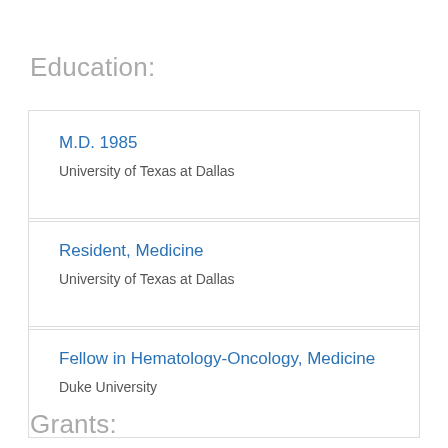Education:
M.D. 1985
University of Texas at Dallas
Resident, Medicine
University of Texas at Dallas
Fellow in Hematology-Oncology, Medicine
Duke University
Grants: